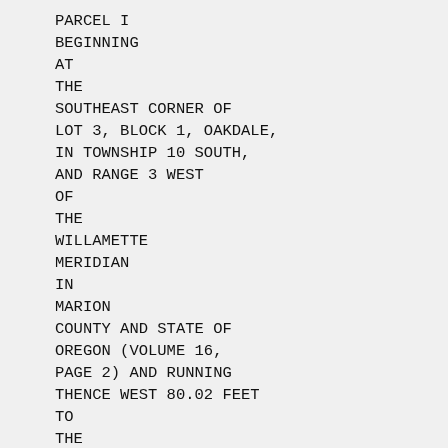PARCEL I
BEGINNING
AT
THE
SOUTHEAST CORNER OF
LOT 3, BLOCK 1, OAKDALE,
IN TOWNSHIP 10 SOUTH,
AND RANGE 3 WEST
OF
THE
WILLAMETTE
MERIDIAN
IN
MARION
COUNTY AND STATE OF
OREGON (VOLUME 16,
PAGE 2) AND RUNNING
THENCE WEST 80.02 FEET
TO
THE
SOUTHWEST
CORNER OF SAID LOT;
THENCE NORTH 136.12
FEET TO THE NORTHWEST